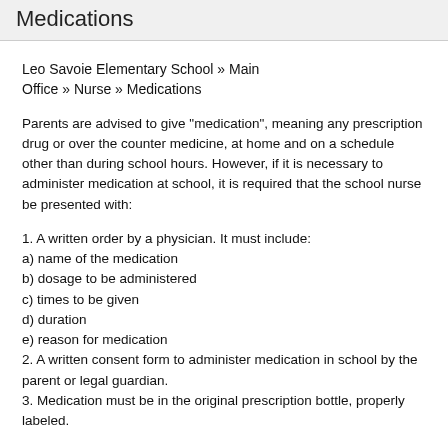Medications
Leo Savoie Elementary School » Main Office » Nurse » Medications
Parents are advised to give "medication", meaning any prescription drug or over the counter medicine, at home and on a schedule other than during school hours. However, if it is necessary to administer medication at school, it is required that the school nurse be presented with:
1. A written order by a physician. It must include:
a) name of the medication
b) dosage to be administered
c) times to be given
d) duration
e) reason for medication
2. A written consent form to administer medication in school by the parent or legal guardian.
3. Medication must be in the original prescription bottle, properly labeled.
Any medication must be brought to and from school by the parent/guardian or designated adult.